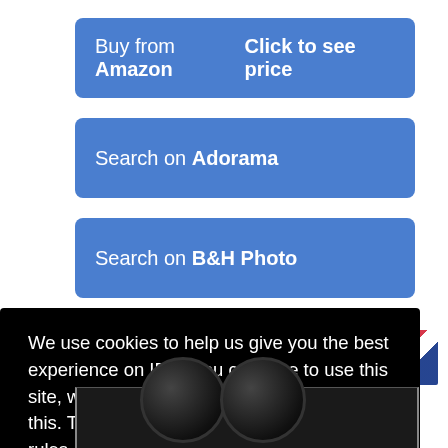Buy from Amazon   Click to see price
Search on Adorama
Search on B&H Photo
We use cookies to help us give you the best experience on IR. If you continue to use this site, we will assume that you're happy with this. This notice is required by recent EU rules, and IR is read globally, so we need to keep the bureaucrats off our case! Learn more
Got it!